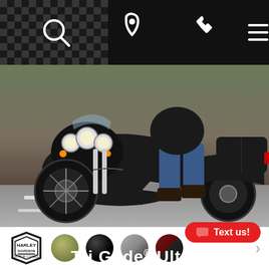Navigation bar with search, location, phone, and menu icons
[Figure (photo): Harley-Davidson Tri Glide Ultra three-wheel motorcycle being ridden on a road, shown from a front-right angle. Rider in jeans and boots visible. Black motorcycle with chrome accents, triple headlights, and rear trunk.]
[Figure (other): Color selector row with Harley-Davidson shield logo and four color swatches: olive/army green, black, grey/silver, dark red/maroon with stripe. Arrow pointing right for more options.]
Text us!
Tri Glide® Ultra